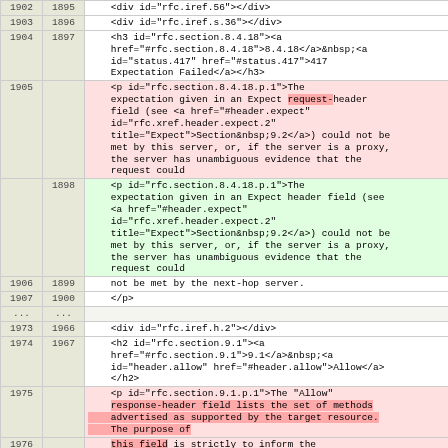| Line A | Line B | Content |
| --- | --- | --- |
| 1902 | 1895 |     <div id="rfc.iref.56"></div> |
| 1903 | 1896 |     <div id="rfc.iref.s.36"></div> |
| 1904 | 1897 |     <h3 id="rfc.section.8.4.18"><a
    href="#rfc.section.8.4.18">8.4.18</a>&nbsp;<a
    id="status.417" href="#status.417">417
    Expectation Failed</a></h3> |
| 1905 |  |     <p id="rfc.section.8.4.18.p.1">The
    expectation given in an Expect request-header
    field (see <a href="#header.expect"
    id="rfc.xref.header.expect.2"
    title="Expect">Section&nbsp;9.2</a>) could not be
    met by this server, or, if the server is a proxy,
    the server has unambiguous evidence that the
    request could |
|  | 1898 |     <p id="rfc.section.8.4.18.p.1">The
    expectation given in an Expect header field (see
    <a href="#header.expect"
    id="rfc.xref.header.expect.2"
    title="Expect">Section&nbsp;9.2</a>) could not be
    met by this server, or, if the server is a proxy,
    the server has unambiguous evidence that the
    request could |
| 1906 | 1899 |     not be met by the next-hop server. |
| 1907 | 1900 |     </p> |
| ... | ... |  |
| 1973 | 1966 |     <div id="rfc.iref.h.2"></div> |
| 1974 | 1967 |     <h2 id="rfc.section.9.1"><a
    href="#rfc.section.9.1">9.1</a>&nbsp;<a
    id="header.allow" href="#header.allow">Allow</a>
    </h2> |
| 1975 |  |     <p id="rfc.section.9.1.p.1">The "Allow"
    response-header field lists the set of methods
    advertised as supported by the target resource.
    The purpose of |
| 1976 |  |     this field is strictly to inform the |